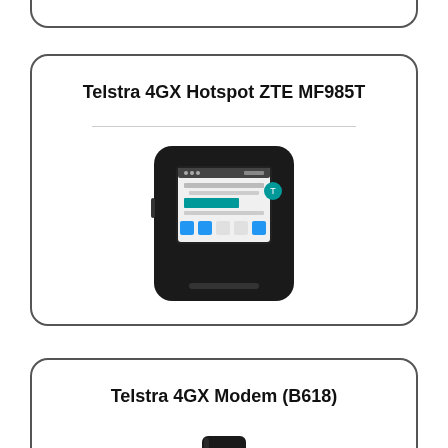[Figure (illustration): Partial rounded rectangle card visible at the top of the page (bottom portion only, no content visible)]
Telstra 4GX Hotspot ZTE MF985T
[Figure (photo): Telstra 4GX Hotspot ZTE MF985T device - a small black portable WiFi hotspot with a touchscreen display showing connectivity information and Telstra branding]
Telstra 4GX Modem (B618)
[Figure (photo): Telstra 4GX Modem B618 - a tall slim black modem device with Telstra logo, partially visible as card is cut off at bottom of page]